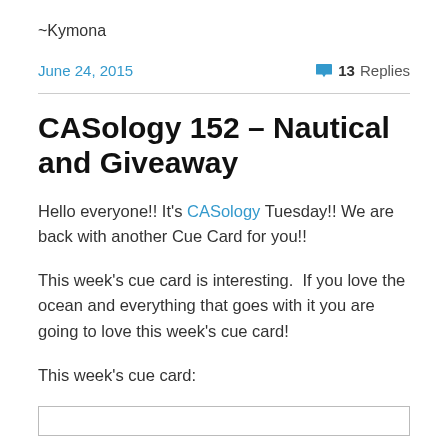~Kymona
June 24, 2015    13 Replies
CASology 152 – Nautical and Giveaway
Hello everyone!! It's CASology Tuesday!! We are back with another Cue Card for you!!
This week's cue card is interesting.  If you love the ocean and everything that goes with it you are going to love this week's cue card!
This week's cue card: